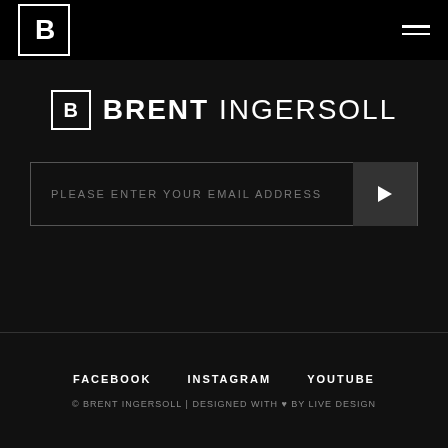B | BRENT INGERSOLL [navigation header with logo and hamburger menu]
BRENT INGERSOLL
PLEASE ENTER YOUR EMAIL ADDRESS
FACEBOOK   INSTAGRAM   YOUTUBE
© BRENT INGERSOLL | DESIGNED WITH ♥ BY LIVE DESIGN